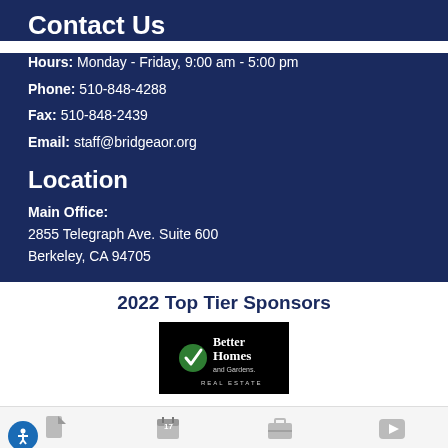Contact Us
Hours: Monday - Friday, 9:00 am - 5:00 pm
Phone: 510-848-4288
Fax: 510-848-2439
Email: staff@bridgeaor.org
Location
Main Office:
2855 Telegraph Ave. Suite 600
Berkeley, CA 94705
2022 Top Tier Sponsors
[Figure (logo): Better Homes and Gardens Real Estate logo on black background]
News | Calendar | Education | Videos